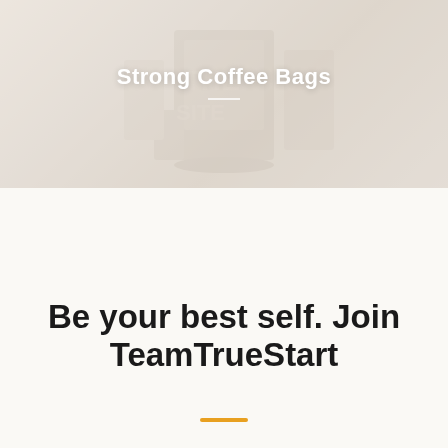[Figure (photo): Hero background image of a coffee shop scene with warm muted tones, overlaid with a light wash]
Strong Coffee Bags
Be your best self. Join TeamTrueStart
[Figure (other): Chat with us button — dark navy rounded pill button]
Chat with us